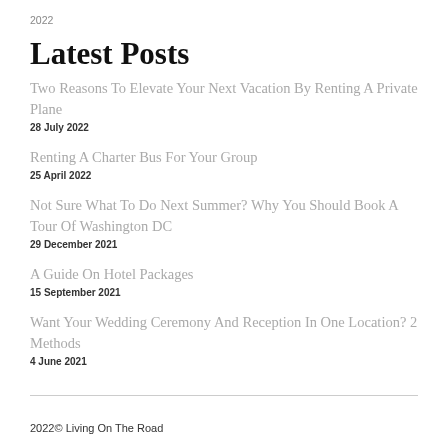2022
Latest Posts
Two Reasons To Elevate Your Next Vacation By Renting A Private Plane
28 July 2022
Renting A Charter Bus For Your Group
25 April 2022
Not Sure What To Do Next Summer? Why You Should Book A Tour Of Washington DC
29 December 2021
A Guide On Hotel Packages
15 September 2021
Want Your Wedding Ceremony And Reception In One Location? 2 Methods
4 June 2021
2022© Living On The Road